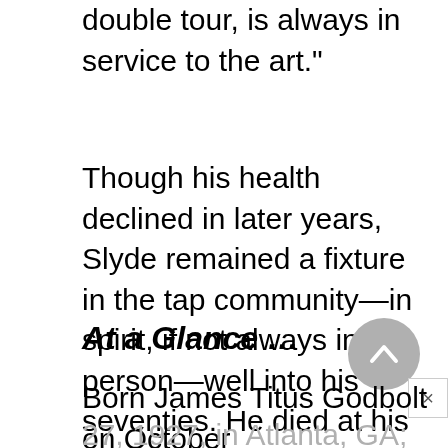double tour, is always in service to the art."
Though his health declined in later years, Slyde remained a fixture in the tap community—in spirit, if not always in person—well into his seventies. He died at his home in Hanson, Massachusetts, at the age of eighty.
At a Glance …
Born James Titus Godbolt on October 27, 1927, in Atlanta, GA; died on May